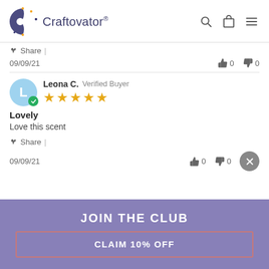Craftovator®
09/09/21   👍 0   👎 0
Leona C.  Verified Buyer
★★★★★
Lovely
Love this scent
Share |
09/09/21   👍 0   👎 0
JOIN THE CLUB
CLAIM 10% OFF